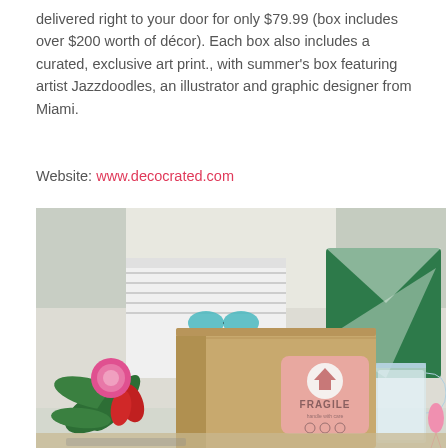delivered right to your door for only $79.99 (box includes over $200 worth of décor). Each box also includes a curated, exclusive art print., with summer's box featuring artist Jazzdoodles, an illustrator and graphic designer from Miami.
Website: www.decocrated.com
[Figure (photo): A cardboard box with a Decocrated FRAGILE label on a table, surrounded by tropical flowers, a glass pitcher, a flamingo decoration, and colorful pillows in the background.]